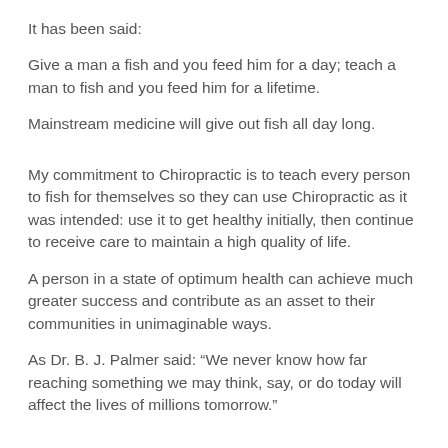It has been said:
Give a man a fish and you feed him for a day; teach a man to fish and you feed him for a lifetime.
Mainstream medicine will give out fish all day long.
My commitment to Chiropractic is to teach every person to fish for themselves so they can use Chiropractic as it was intended: use it to get healthy initially, then continue to receive care to maintain a high quality of life.
A person in a state of optimum health can achieve much greater success and contribute as an asset to their communities in unimaginable ways.
As Dr. B. J. Palmer said: “We never know how far reaching something we may think, say, or do today will affect the lives of millions tomorrow.”